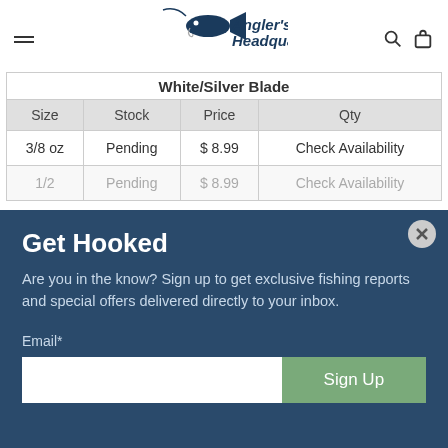[Figure (logo): Angler's Headquarters logo with fish illustration and bold italic navy text]
| Size | Stock | Price | Qty |
| --- | --- | --- | --- |
| 3/8 oz | Pending | $ 8.99 | Check Availability |
| 1/2 | Pending | $ 8.99 | Check Availability |
Get Hooked
Are you in the know? Sign up to get exclusive fishing reports and special offers delivered directly to your inbox.
Email*
Sign Up